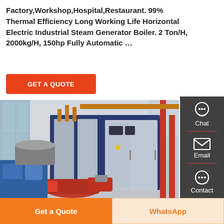Factory,Workshop,Hospital,Restaurant. 99% Thermal Efficiency Long Working Life Horizontal Electric Industrial Steam Generator Boiler. 2 Ton/H, 2000kg/H, 150hp Fully Automatic …
[Figure (photo): Industrial electric steam generator boiler in a factory setting. Large blue and silver cabinet-style boiler unit with red burner assembly in the foreground, pipes in background.]
GET A QUOTE
Chat
Email
Contact
Get a Quote
WhatsApp